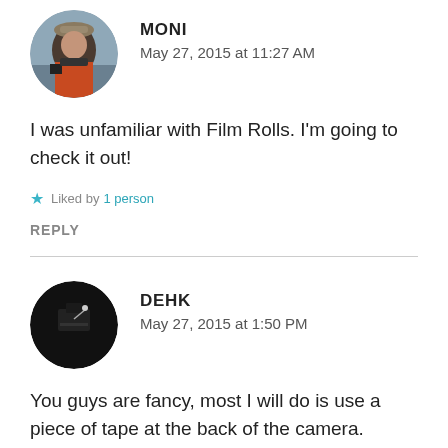[Figure (photo): Circular avatar photo of Moni, a person wearing a hat outdoors near water]
MONI
May 27, 2015 at 11:27 AM
I was unfamiliar with Film Rolls. I'm going to check it out!
★ Liked by 1 person
REPLY
[Figure (photo): Circular avatar photo of Dehk, a dark image showing a camera or film equipment]
DEHK
May 27, 2015 at 1:50 PM
You guys are fancy, most I will do is use a piece of tape at the back of the camera. Looks like the app works great and very organized, too bad that I am